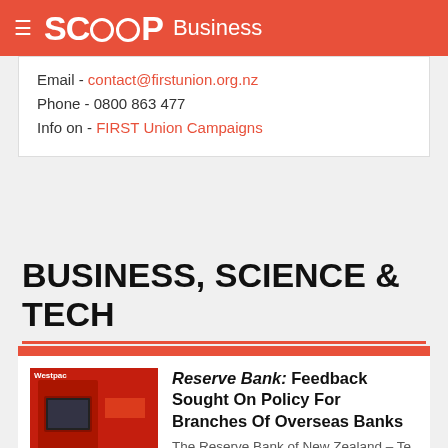SCOOP Business
Email - contact@firstunion.org.nz
Phone - 0800 863 477
Info on - FIRST Union Campaigns
BUSINESS, SCIENCE & TECH
[Figure (photo): Photo of a Westpac bank branch ATM with red exterior]
Reserve Bank: Feedback Sought On Policy For Branches Of Overseas Banks
The Reserve Bank of New Zealand – Te